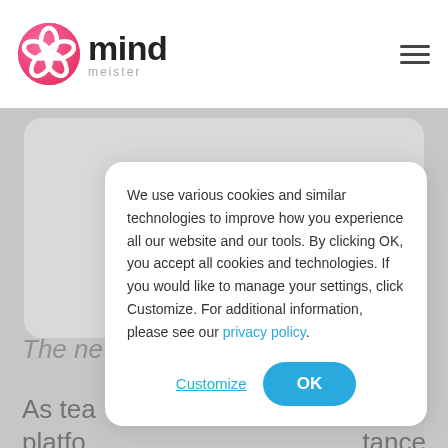[Figure (logo): MindMeister logo: pink circular icon with intersecting loops and the text 'mind' in bold dark letters with 'meister' subtitle below]
We use various cookies and similar technologies to improve how you experience all our website and our tools. By clicking OK, you accept all cookies and technologies. If you would like to manage your settings, click Customize. For additional information, please see our privacy policy.
Customize
OK
The ne
As tea
ion
platfo
tance
of ema
change
at